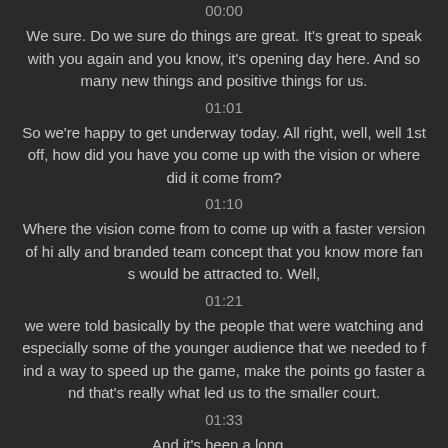00:00
We sure. Do we sure do things are great. It's great to speak with you again and you know, it's opening day here. And so many new things and positive things for us.
01:01
So we're happy to get underway today. All right, well, well 1st off, how did you have you come up with the vision or where did it come from?
01:10
Where the vision come from to come up with a faster version of hi ally and branded team concept that you know more fan s would be attracted to. Well,
01:21
we were told basically by the people that were watching and especially some of the younger audience that we needed to f ind a way to speed up the game, make the points go faster a nd that's really what led us to the smaller court.
01:33
And it's been a long...